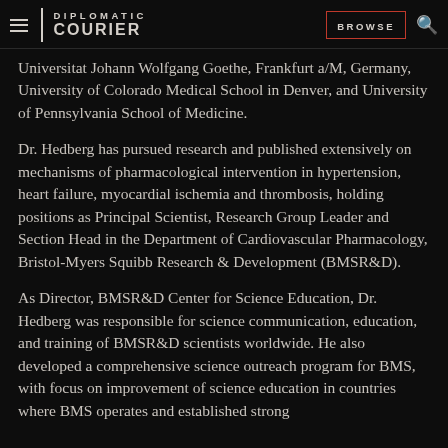DIPLOMATIC COURIER | BROWSE
Universitat Johann Wolfgang Goethe, Frankfurt a/M, Germany, University of Colorado Medical School in Denver, and University of Pennsylvania School of Medicine.
Dr. Hedberg has pursued research and published extensively on mechanisms of pharmacological intervention in hypertension, heart failure, myocardial ischemia and thrombosis, holding positions as Principal Scientist, Research Group Leader and Section Head in the Department of Cardiovascular Pharmacology, Bristol-Myers Squibb Research & Development (BMSR&D).
As Director, BMSR&D Center for Science Education, Dr. Hedberg was responsible for science communication, education, and training of BMSR&D scientists worldwide. He also developed a comprehensive science outreach program for BMS, with focus on improvement of science education in countries where BMS operates and established strong